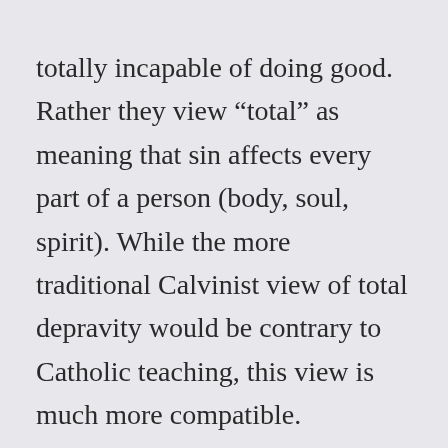totally incapable of doing good.  Rather they view “total” as meaning that sin affects every part of a person (body, soul, spirit).  While the more traditional Calvinist view of total depravity would be contrary to Catholic teaching, this view is much more compatible.
“Total depravity” is not a term used in Catholic theology.  We would agree that every aspect of our human nature has been wounded by original sin, and we